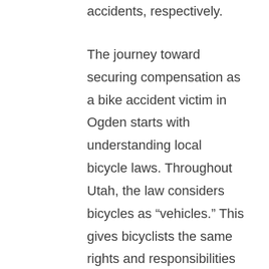accidents, respectively.
The journey toward securing compensation as a bike accident victim in Ogden starts with understanding local bicycle laws. Throughout Utah, the law considers bicycles as “vehicles.” This gives bicyclists the same rights and responsibilities as other motor vehicle operators in the state. Bicyclists must, therefore, follow all applicable traffic laws, including obeying traffic signals, stopping at red lights and stop signs, and yielding right-of-way when applicable. At the same time, other motorists must treat bicycles with the same respect as other vehicles.